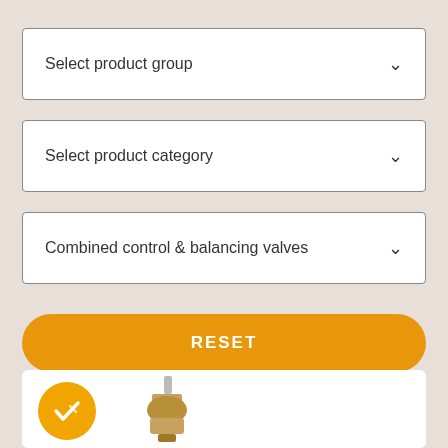Select product group
Select product category
Combined control & balancing valves
RESET
[Figure (screenshot): Product card with a yellow badge containing a checkmark icon and a valve product image at the bottom of the page]